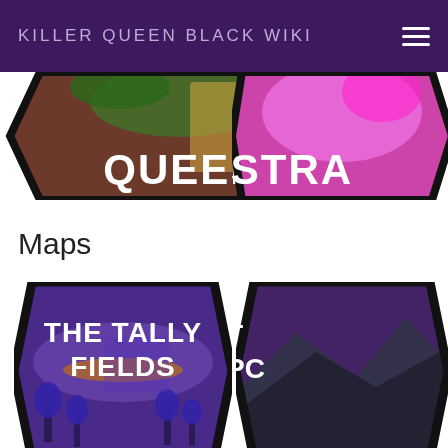KILLER QUEEN BLACK WIKI
[Figure (screenshot): Partial hexagonal game tile showing QUEEN label with brown/jungle background, partially cropped at top]
[Figure (screenshot): Partial hexagonal game tile showing STRA... label with pink/purple background, partially cropped at right and top]
Maps
[Figure (screenshot): Hexagonal map tile labeled THE TALLY FIELDS with purple sci-fi landscape background]
[Figure (screenshot): Partial hexagonal map tile partially cropped at right, showing T and PO text with mountainous purple/teal background]
[Figure (screenshot): Partial hexagonal map tile at bottom labeled THE SPLIT and partially showing UNDER text, dark night sky background]
[Figure (screenshot): Partial hexagonal map tile at bottom right labeled BL... QUEEN with dark olive/green background]